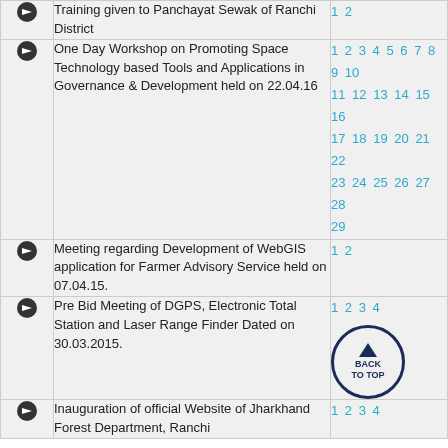Training given to Panchayat Sewak of Ranchi District
One Day Workshop on Promoting Space Technology based Tools and Applications in Governance & Development held on 22.04.16
Meeting regarding Development of WebGIS application for Farmer Advisory Service held on 07.04.15.
Pre Bid Meeting of DGPS, Electronic Total Station and Laser Range Finder Dated on 30.03.2015.
Inauguration of official Website of Jharkhand Forest Department, Ranchi